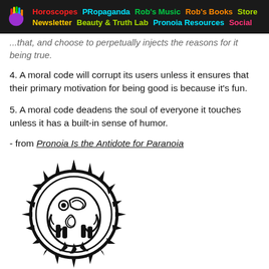Horoscopes | PRopaganda | Rob's Music | Rob's Books | Store | Newsletter | Beauty & Truth Lab | Pronoia Resources | Social
...that, and choose to perpetually injects the reasons for it being true.
4. A moral code will corrupt its users unless it ensures that their primary motivation for being good is because it's fun.
5. A moral code deadens the soul of everyone it touches unless it has a built-in sense of humor.
- from Pronoia Is the Antidote for Paranoia
[Figure (illustration): Black and white tribal/Aztec-style sun symbol with a bird or creature motif in the center, surrounded by radiating spikes]